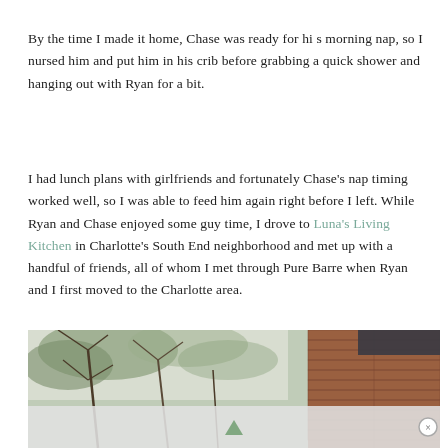By the time I made it home, Chase was ready for his morning nap, so I nursed him and put him in his crib before grabbing a quick shower and hanging out with Ryan for a bit.
I had lunch plans with girlfriends and fortunately Chase's nap timing worked well, so I was able to feed him again right before I left. While Ryan and Chase enjoyed some guy time, I drove to Luna's Living Kitchen in Charlotte's South End neighborhood and met up with a handful of friends, all of whom I met through Pure Barre when Ryan and I first moved to the Charlotte area.
[Figure (photo): Exterior photo of a building with tree branches in upper portion and brick wall visible on the right side, partially obscured by a semi-transparent advertisement overlay at the bottom.]